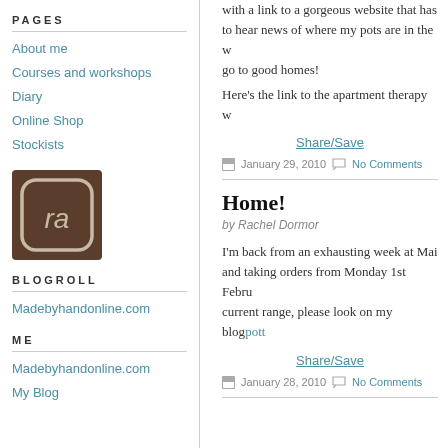PAGES
About me
Courses and workshops
Diary
Online Shop
Stockists
[Figure (logo): Square brown logo with rounded rectangle icon containing stylized 'ra' letters]
BLOGROLL
Madebyhandonline.com
ME
Madebyhandonline.com
My Blog
with a link to a gorgeous website that has to hear news of where my pots are in the w go to good homes!
Here's the link to the apartment therapy w
Share/Save
January 29, 2010   No Comments
Home!
by Rachel Dormor
I'm back from an exhausting week at Mai and taking orders from Monday 1st Febru current range, please look on my blogpott
Share/Save
January 28, 2010   No Comments